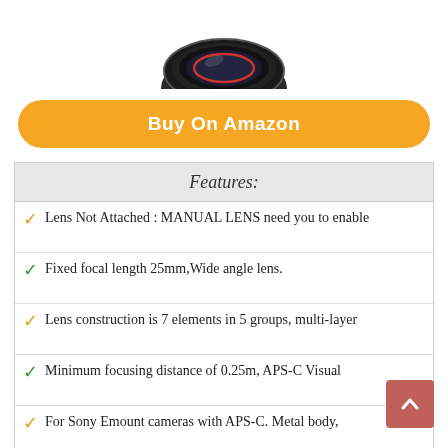[Figure (photo): Camera lens viewed from front, black, circular, partially cropped at top of page]
Buy On Amazon
| Features: |
| --- |
| Lens Not Attached : MANUAL LENS need you to enable |
| Fixed focal length 25mm,Wide angle lens. |
| Lens construction is 7 elements in 5 groups, multi-layer |
| Minimum focusing distance of 0.25m, APS-C Visual |
| For Sony Emount cameras with APS-C. Metal body, |
10. HELL BLUES LEATHER DSLR SLR SHOCKPROOF BAG LARGE GADGET CAMERA CASE 3 LENSES SHOULDER MESSENGER FOR CANON NIKON OLYMPUS SONY (WITH REMOVABLE INSERT)